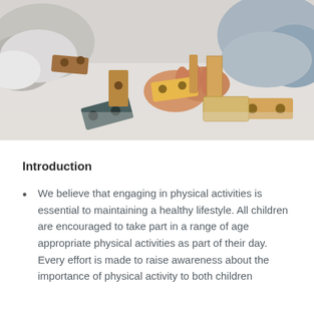[Figure (photo): Overhead view of children and an adult playing with wooden building blocks and shape-sorter toys on a light grey surface. Several wooden rectangular blocks with holes are scattered around, including a dark teal/grey block and yellow/orange blocks.]
Introduction
We believe that engaging in physical activities is essential to maintaining a healthy lifestyle. All children are encouraged to take part in a range of age appropriate physical activities as part of their day. Every effort is made to raise awareness about the importance of physical activity to both children